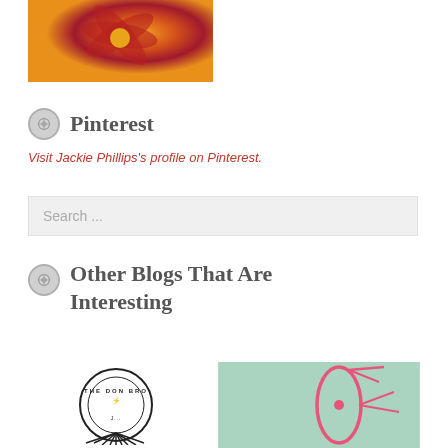[Figure (photo): Orange and red flower photo with white text overlay reading CLICK FOR RANDOM POSTS]
Pinterest
Visit Jackie Phillips's profile on Pinterest.
Search ...
Other Blogs That Are Interesting
[Figure (logo): The Don Broj... circular logo in black and white]
[Figure (illustration): Pink illustration on mint/green background, appears to be a sewing or craft related image]